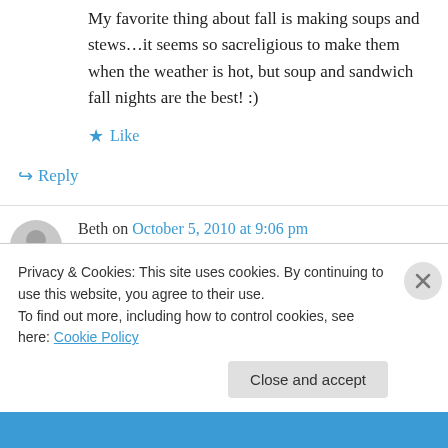My favorite thing about fall is making soups and stews…it seems so sacreligious to make them when the weather is hot, but soup and sandwich fall nights are the best! :)
★ Like
↪ Reply
Beth on October 5, 2010 at 9:06 pm
My absolute favorite thing is all the pumpkins! I get all giddy when the sugar pumpkins appear at
Privacy & Cookies: This site uses cookies. By continuing to use this website, you agree to their use.
To find out more, including how to control cookies, see here: Cookie Policy
Close and accept